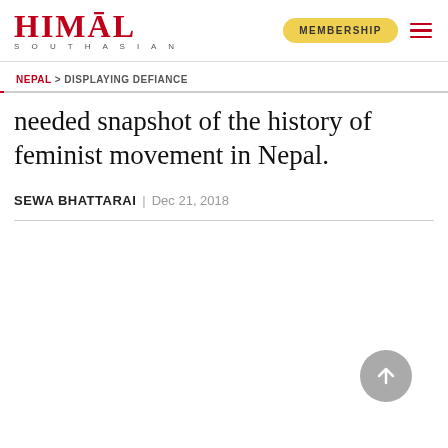HIMAL SOUTHASIAN | MEMBERSHIP
NEPAL > DISPLAYING DEFIANCE
needed snapshot of the history of feminist movement in Nepal.
SEWA BHATTARAI | Dec 21, 2018